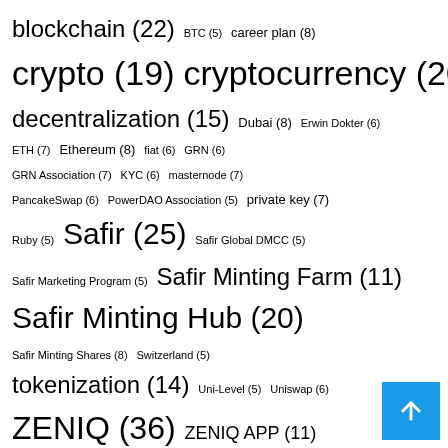blockchain (22)  BTC (5)  career plan (8)
crypto (19)  cryptocurrency (20)
decentralization (15)  Dubai (8)  Erwin Dokter (6)
ETH (7)  Ethereum (8)  fiat (6)  GRN (6)
GRN Association (7)  KYC (6)  masternode (7)
PancakeSwap (6)  PowerDAO Association (5)  private key (7)
Ruby (5)  Safir (25)  Safir Global DMCC (5)
Safir Marketing Program (5)  Safir Minting Farm (11)
Safir Minting Hub (20)
Safir Minting Shares (8)  Switzerland (5)
tokenization (14)  Uni-Level (5)  Uniswap (6)
ZENIQ (36)  ZENIQ APP (11)
ZENIQ Coin (19)  ZENIQ Hub (?)